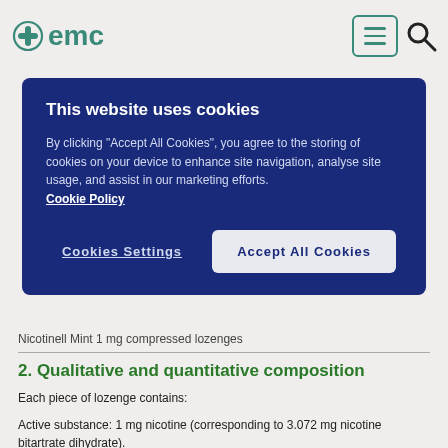emc
This website uses cookies

By clicking "Accept All Cookies", you agree to the storing of cookies on your device to enhance site navigation, analyse site usage, and assist in our marketing efforts.
Cookie Policy

Cookies Settings    Accept All Cookies
Nicotinell Mint 1 mg compressed lozenges
2. Qualitative and quantitative composition
Each piece of lozenge contains:
Active substance: 1 mg nicotine (corresponding to 3.072 mg nicotine bitartrate dihydrate).
Excipient(s) with known effect: aspartame (0.01 g) and maltitol (0.9 g).
For the full list of excipients, see section 6.1.
3. Pharmaceutical form